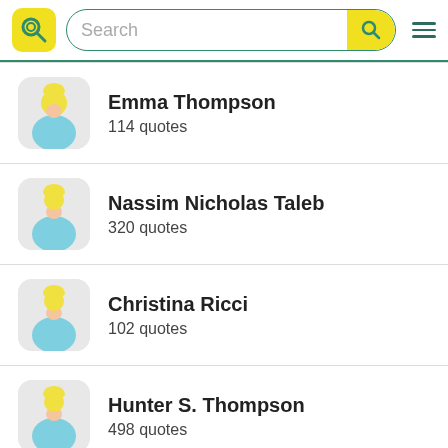Search
Emma Thompson
114 quotes
Nassim Nicholas Taleb
320 quotes
Christina Ricci
102 quotes
Hunter S. Thompson
498 quotes